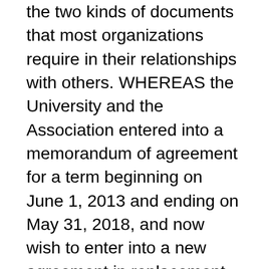the two kinds of documents that most organizations require in their relationships with others. WHEREAS the University and the Association entered into a memorandum of agreement for a term beginning on June 1, 2013 and ending on May 31, 2018, and now wish to enter into a new agreement in replacement of the previous agreement; The touchstone for drafting a good contract or memorandum of agreement is absolute clarity about everything the document covers here. The transaction is then completed at a future defined date, using either the original exchange rate of $1.15, or another agreed upon exchange rate. Essentially, the two parties are loaning a particular foreign currency to each other. In some cases with currency swaps, this can include the payment of interest or principal amounts on loans, though this will depend on the details of the individual agreement. As mentioned, the main purpose of currency swaps is to avoid turbulence and other risks in the foreign exchange market and exchange rate. Our representative will verify landlord and tenant identity with Aadhaar number along with 2 witnesses. Once verification is completed, you will get your registered agreement within 3 working days. A